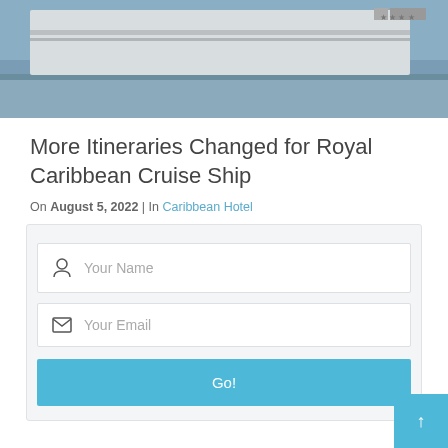[Figure (photo): Cruise ship hull and waterline photo, showing the stern of a large white ship on open water]
More Itineraries Changed for Royal Caribbean Cruise Ship
On August 5, 2022 | In Caribbean Hotel
[Figure (screenshot): Newsletter signup form with Your Name field, Your Email field, and a Go! submit button on a light gray background]